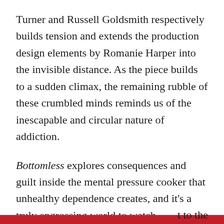Turner and Russell Goldsmith respectively builds tension and extends the production design elements by Romanie Harper into the invisible distance. As the piece builds to a sudden climax, the remaining rubble of these crumbled minds reminds us of the inescapable and circular nature of addiction.
Bottomless explores consequences and guilt inside the mental pressure cooker that unhealthy dependence creates, and it's a truly engrossing world to watch deteriorate. Addiction and sobriety are fascinating topics that create utterly engrossing characters, and I would happily have sat through a second [continues] to the